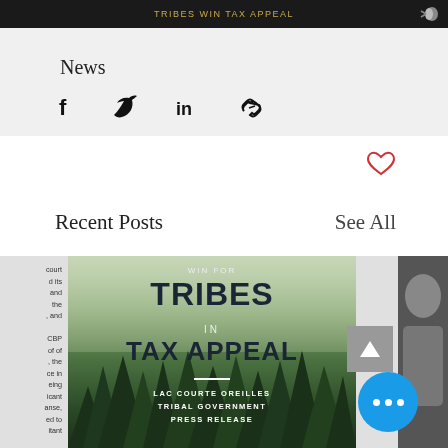TRIBES WIN TAX APPEAL - Header bar
News
[Figure (infographic): Social media share icons: Facebook, Twitter, LinkedIn, Link/Copy]
[Figure (infographic): Heart/like icon (red outline)]
Recent Posts
See All
[Figure (illustration): WIN FOR TRIBES IN TAX APPEAL - Lac Courte Oreilles Tribal Government Press Release card with forest background]
court and its and the and CBP of the ce in ing cant ane, ed to tant